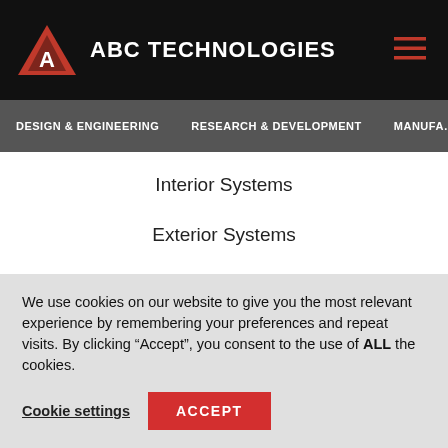ABC TECHNOLOGIES
DESIGN & ENGINEERING   RESEARCH & DEVELOPMENT   MANUFA…
Interior Systems
Exterior Systems
HVAC Distribution Systems
Air Induction Systems
Fluid Management Systems
We use cookies on our website to give you the most relevant experience by remembering your preferences and repeat visits. By clicking "Accept", you consent to the use of ALL the cookies.
Cookie settings   ACCEPT